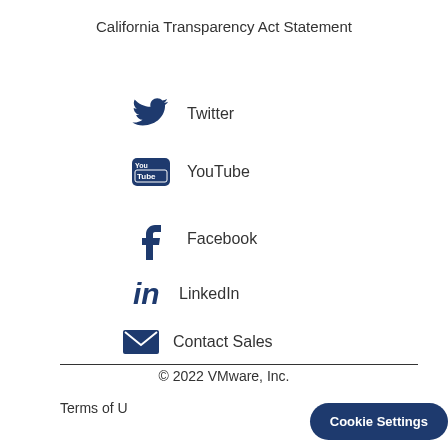California Transparency Act Statement
Twitter
YouTube
Facebook
LinkedIn
Contact Sales
© 2022 VMware, Inc.
Terms of U...
Cookie Settings